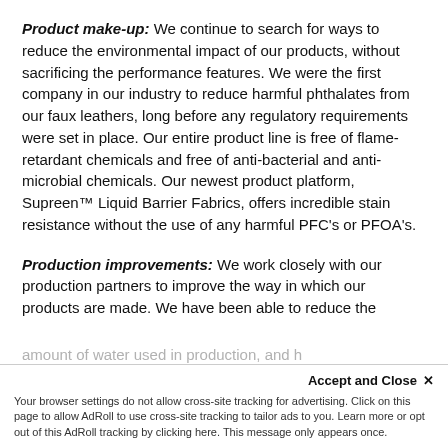Product make-up: We continue to search for ways to reduce the environmental impact of our products, without sacrificing the performance features. We were the first company in our industry to reduce harmful phthalates from our faux leathers, long before any regulatory requirements were set in place. Our entire product line is free of flame-retardant chemicals and free of anti-bacterial and anti-microbial chemicals. Our newest product platform, Supreen™ Liquid Barrier Fabrics, offers incredible stain resistance without the use of any harmful PFC's or PFOA's.
Production improvements: We work closely with our production partners to improve the way in which our products are made. We have been able to reduce the amount of water used in production, and h...
Accept and Close ×
Your browser settings do not allow cross-site tracking for advertising. Click on this page to allow AdRoll to use cross-site tracking to tailor ads to you. Learn more or opt out of this AdRoll tracking by clicking here. This message only appears once.